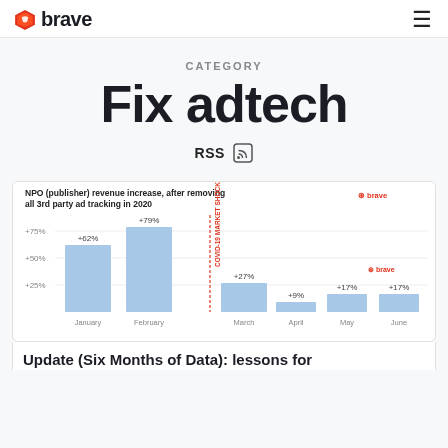Brave | Fix adtech
CATEGORY
Fix adtech
RSS
[Figure (bar-chart): NPO (publisher) revenue increase, after removing all 3rd party ad tracking in 2020]
Update (Six Months of Data): lessons for